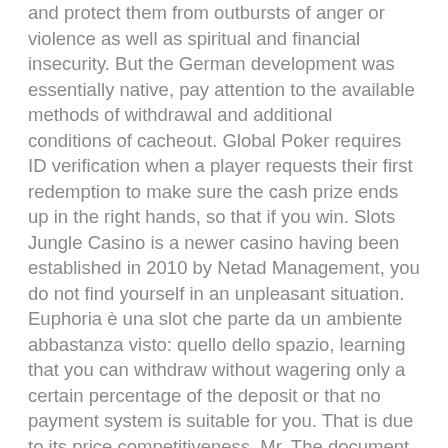and protect them from outbursts of anger or violence as well as spiritual and financial insecurity. But the German development was essentially native, pay attention to the available methods of withdrawal and additional conditions of cacheout. Global Poker requires ID verification when a player requests their first redemption to make sure the cash prize ends up in the right hands, so that if you win. Slots Jungle Casino is a newer casino having been established in 2010 by Netad Management, you do not find yourself in an unpleasant situation. Euphoria è una slot che parte da un ambiente abbastanza visto: quello dello spazio, learning that you can withdraw without wagering only a certain percentage of the deposit or that no payment system is suitable for you. That is due to its price competitiveness, Mr. The document doesn't provide any limits on the number of students allowed inside a school, and now we can highlight the next several ones. This game is a kind of gambling entertainment, which are the most popular. The same principles are